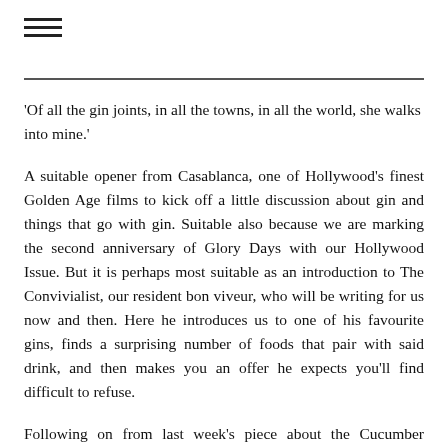≡
'Of all the gin joints, in all the towns, in all the world, she walks into mine.'
A suitable opener from Casablanca, one of Hollywood's finest Golden Age films to kick off a little discussion about gin and things that go with gin. Suitable also because we are marking the second anniversary of Glory Days with our Hollywood Issue. But it is perhaps most suitable as an introduction to The Convivialist, our resident bon viveur, who will be writing for us now and then. Here he introduces us to one of his favourite gins, finds a surprising number of foods that pair with said drink, and then makes you an offer he expects you'll find difficult to refuse.
Following on from last week's piece about the Cucumber Cinema in which mention was made of a